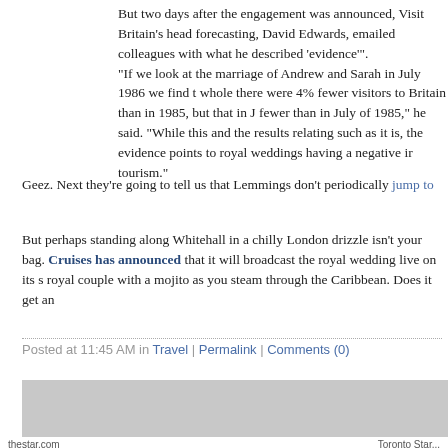But two days after the engagement was announced, Visit Britain's head forecasting, David Edwards, emailed colleagues with what he described 'evidence'". "If we look at the marriage of Andrew and Sarah in July 1986 we find t whole there were 4% fewer visitors to Britain than in 1985, but that in J fewer than in July of 1985," he said. "While this and the results relating such as it is, the evidence points to royal weddings having a negative i tourism."
Geez. Next they're going to tell us that Lemmings don't periodically jump to
But perhaps standing along Whitehall in a chilly London drizzle isn't your bag. Cruises has announced that it will broadcast the royal wedding live on its s royal couple with a mojito as you steam through the Caribbean. Does it get an
Posted at 11:45 AM in Travel | Permalink | Comments (0)